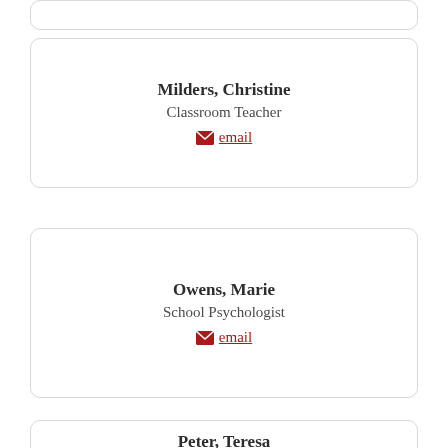Milders, Christine
Classroom Teacher
email
Owens, Marie
School Psychologist
email
Peter, Teresa
School Counselor